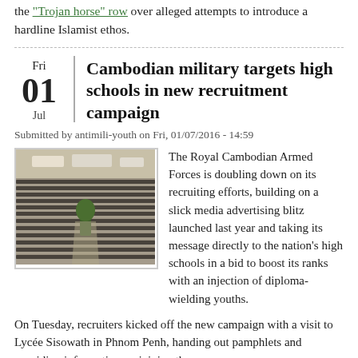the "Trojan horse" row over alleged attempts to introduce a hardline Islamist ethos.
Cambodian military targets high schools in new recruitment campaign
Submitted by antimili-youth on Fri, 01/07/2016 - 14:59
[Figure (photo): Aerial or elevated view of large group of uniformed students or soldiers assembled in rows outdoors]
The Royal Cambodian Armed Forces is doubling down on its recruiting efforts, building on a slick media advertising blitz launched last year and taking its message directly to the nation's high schools in a bid to boost its ranks with an injection of diploma-wielding youths.
On Tuesday, recruiters kicked off the new campaign with a visit to Lycée Sisowath in Phnom Penh, handing out pamphlets and providing information on joining the